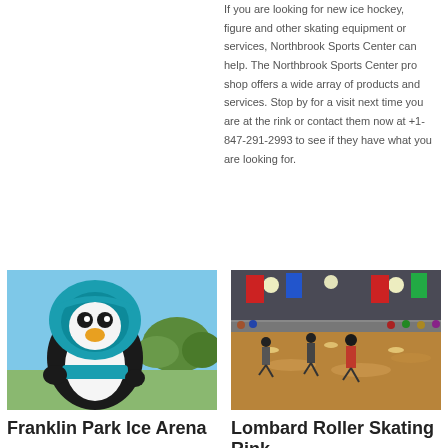If you are looking for new ice hockey, figure and other skating equipment or services, Northbrook Sports Center can help. The Northbrook Sports Center pro shop offers a wide array of products and services. Stop by for a visit next time you are at the rink or contact them now at +1-847-291-2993 to see if they have what you are looking for.
[Figure (photo): A penguin mascot wearing a teal hoodie and scarf, photographed outdoors with blue sky and trees in the background.]
Franklin Park Ice Arena
[Figure (photo): Interior of an ice rink arena showing skaters on the ice, spectators along the boards, and colorful banners/decorations hanging from the ceiling.]
Lombard Roller Skating Rink